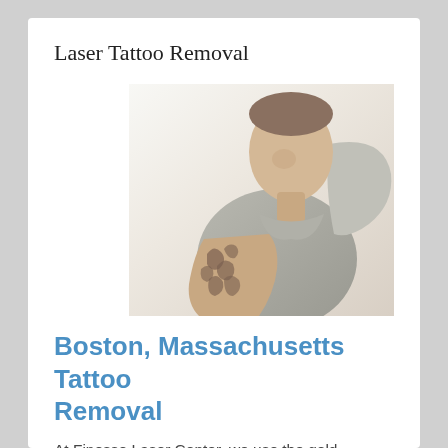Laser Tattoo Removal
[Figure (photo): Man in grey t-shirt with tattoo sleeve on arm, looking down at his arm raised to show the tattoo]
Boston, Massachusetts Tattoo Removal
At Finesse Laser Center, we use the gold standard Candela AlexTriVantage Q-switched Laser Tattoo Removal from most any area of the body and on all skin types. The AlexTriVantage